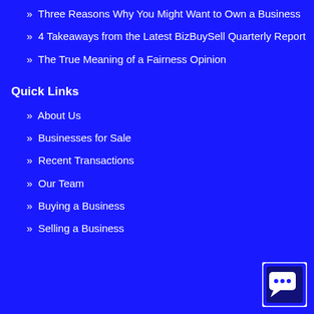» Three Reasons Why You Might Want to Own a Business
» 4 Takeaways from the Latest BizBuySell Quarterly Report
» The True Meaning of a Fairness Opinion
Quick Links
» About Us
» Businesses for Sale
» Recent Transactions
» Our Team
» Buying a Business
» Selling a Business
[Figure (logo): Chat icon in bottom right corner — white speech bubble with dots on dark background square]